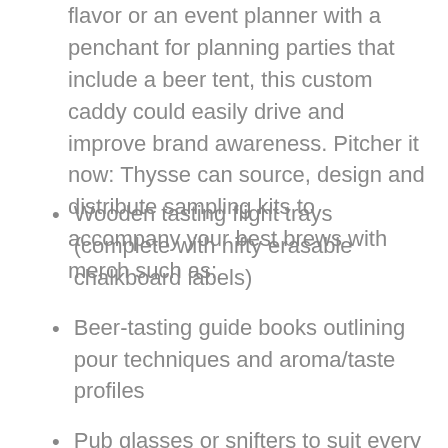flavor or an event planner with a penchant for planning parties that include a beer tent, this custom caddy could easily drive and improve brand awareness. Pitcher it now: Thysse can source, design and distribute sampling kits to accompany your best brews with merch such as:
Wooden tasting flight trays (complete with nifty erasable chalkboard labels)
Beer-tasting guide books outlining pour techniques and aroma/taste profiles
Pub glasses or snifters to suit every taste from Belgians to Stouts
Branded bottle opener/corkscrew combos for a one-pop-top-shop
Brew-branded coasters to relinquish rings